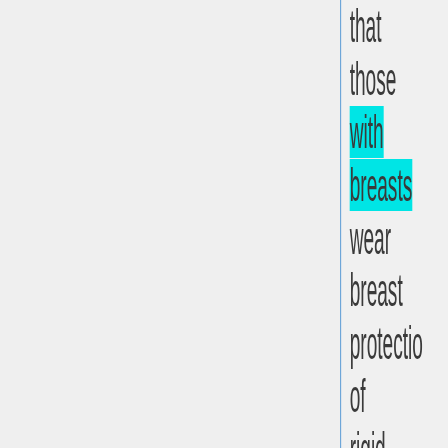that those with breasts wear breast protection of rigid material
3. If breast protection is worn, separate floating breast cups are prohibite